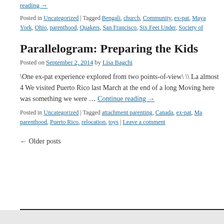reading →
Posted in Uncategorized | Tagged Bengali, church, Community, ex-pat, Maya York, Ohio, parenthood, Quakers, San Francisco, Six Feet Under, Society of
Parallelogram: Preparing the Kids
Posted on September 2, 2014 by Lisa Bagchi
\One ex-pat experience explored from two points-of-view\ \\ La almost 4 We visited Puerto Rico last March at the end of a long Moving here was something we were … Continue reading →
Posted in Uncategorized | Tagged attachment parenting, Canada, ex-pat, Ma parenthood, Puerto Rico, relocation, toys | Leave a comment
← Older posts